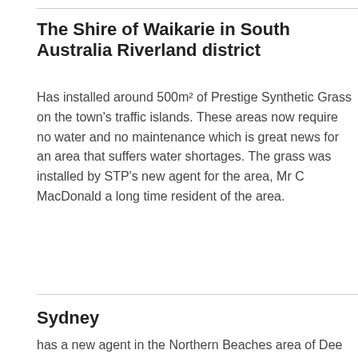The Shire of Waikarie in South Australia Riverland district
Has installed around 500m² of Prestige Synthetic Grass on the town's traffic islands. These areas now require no water and no maintenance which is great news for an area that suffers water shortages. The grass was installed by STP's new agent for the area, Mr C MacDonald a long time resident of the area.
Sydney
has a new agent in the Northern Beaches area of Dee Why, call 1300 558 089 fo